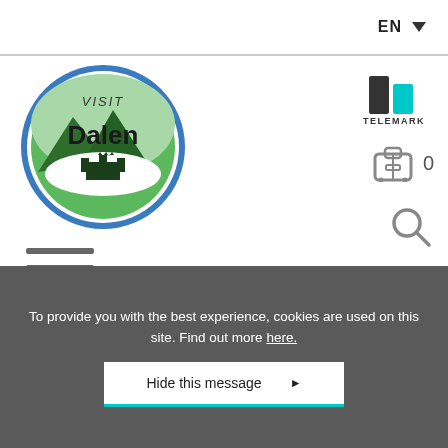EN ▼
[Figure (logo): Visit Dalen circular logo with green mountain landscape]
[Figure (logo): Telemark logo with black and teal vertical bars and TELEMARK text]
[Figure (other): Luggage/suitcase icon with count 0]
[Figure (other): Search magnifying glass icon]
[Figure (other): Hamburger menu icon with three horizontal lines]
Home of Myllarguten - Myllarheimen
To provide you with the best experience, cookies are used on this site. Find out more here.
Hide this message ▶